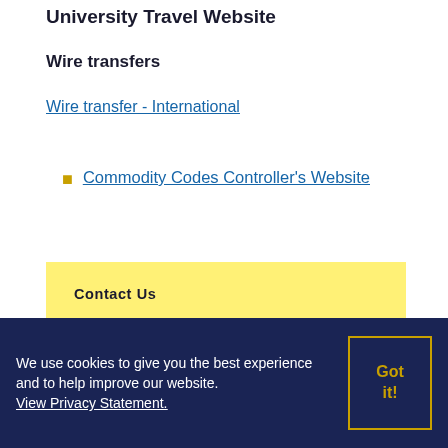University Travel Website
Wire transfers
Wire transfer - International
Commodity Codes Controller's Website
Contact Us
Forum Information
Forms, Guidelines, Policies And Procedures
We use cookies to give you the best experience and to help improve our website. View Privacy Statement.